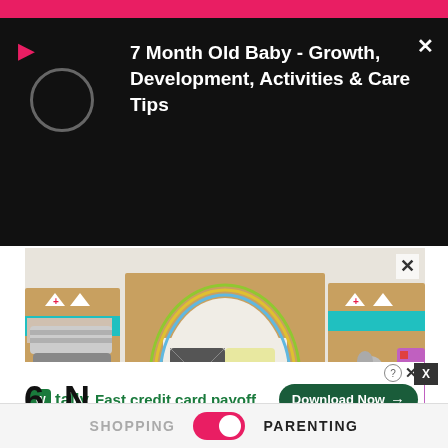[Figure (screenshot): Black video overlay panel with pink play button icon, circular thumbnail placeholder, and white bold text reading '7 Month Old Baby - Growth, Development, Activities & Care Tips'. White X close button top right.]
[Figure (photo): Photo of a DIY cardboard fireplace craft with colorful pillows, teal tape decorations, triangle decorations, yellow floor, a dog cutout, and multicolor cushions. X close button in upper right.]
Source: Pinterest
6. N…
[Figure (screenshot): Tally app advertisement banner: 'Fast credit card payoff' with Download Now button. Small X and info icon in top right of ad. Dark X box on right side.]
SHOPPING   [toggle]   PARENTING